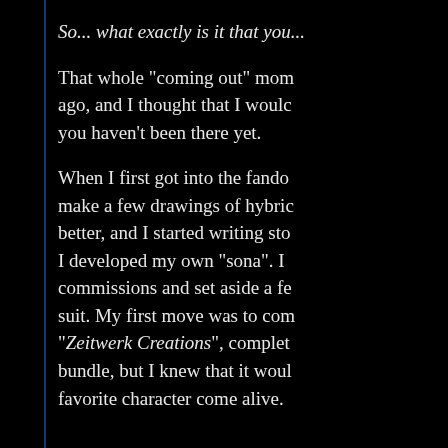So... what exactly is it that you...
That whole "coming out" moment happened a while ago, and I thought that I would link it here in case you haven't been there yet.
When I first got into the fandom, I decided to make a few drawings of hybrid characters and, better, and I started writing stories for them. I developed my own "sona". I started getting commissions and set aside a few bucks for a suit. My first move was to commission "Zeitwerk Creations", complete with a tail bundle, but I knew that it would bring my favorite character come alive.